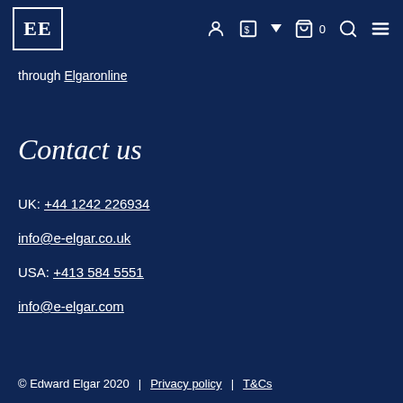EE [logo] | account | currency selector | cart 0 | search | menu
through Elgaronline
Contact us
UK: +44 1242 226934
info@e-elgar.co.uk
USA: +413 584 5551
info@e-elgar.com
© Edward Elgar 2020 | Privacy policy | T&Cs